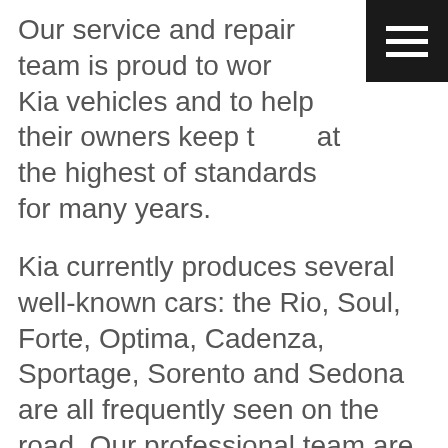Our service and repair team is proud to work on Kia vehicles and to help their owners keep them at the highest of standards for many years.
Kia currently produces several well-known cars: the Rio, Soul, Forte, Optima, Cadenza, Sportage, Sorento and Sedona are all frequently seen on the road. Our professional team are experts at keeping these cars operating the way they were made to. Just because these cars are affordable to buy doesn't mean that our team doesn't take them seriously. They know that your car is a big investment, and they want to help you maximize what you get out of it.